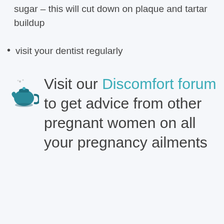sugar – this will cut down on plaque and tartar buildup
visit your dentist regularly
Visit our Discomfort forum to get advice from other pregnant women on all your pregnancy ailments